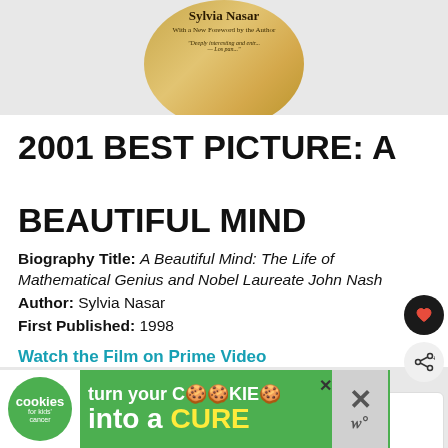[Figure (photo): Partial book cover showing author name Sylvia Nasar with gold/yellow background, cropped into a circle at the top of the page]
2001 BEST PICTURE: A BEAUTIFUL MIND
Biography Title: A Beautiful Mind: The Life of Mathematical Genius and Nobel Laureate John Nash
Author: Sylvia Nasar
First Published: 1998
Watch the Film on Prime Video
[Figure (screenshot): Cookies for Kids Cancer advertisement banner at the bottom: turn your COOKIES into a CURE LEARN HOW]
[Figure (screenshot): WHAT'S NEXT -> 14 Books Similar to... promotional widget on the right side]